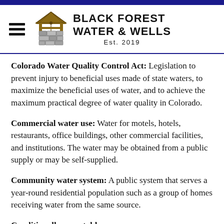[Figure (logo): Black Forest Water & Wells logo with a stone well illustration and company name, Est. 2019]
Colorado Water Quality Control Act: Legislation to prevent injury to beneficial uses made of state waters, to maximize the beneficial uses of water, and to achieve the maximum practical degree of water quality in Colorado.
Commercial water use: Water for motels, hotels, restaurants, office buildings, other commercial facilities, and institutions. The water may be obtained from a public supply or may be self-supplied.
Community water system: A public system that serves a year-round residential population such as a group of homes receiving water from the same source.
Conditionally acceptable: